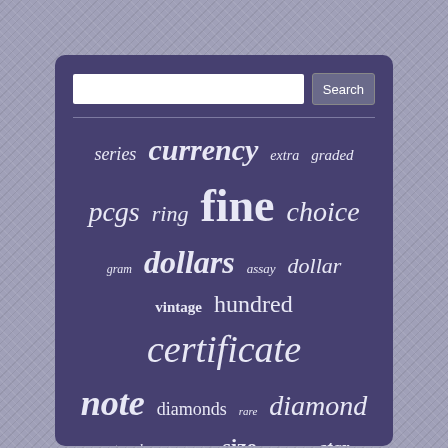[Figure (screenshot): A tag cloud / word cloud displayed on a dark purple/navy background panel, showing currency and collectibles-related search terms in varying sizes and italic/bold styles. Terms include: series, currency, extra, graded, pcgs, ring, fine, choice, gram, dollars, assay, dollar, vintage, hundred, certificate, note, diamonds, rare, diamond, natural, free, suisse, size, antique, star, nice, fifty, block, gold, large, very, extremely, twenty, yellow, white. A search bar with a Search button is at the top. The outer border is a silver glitter texture.]